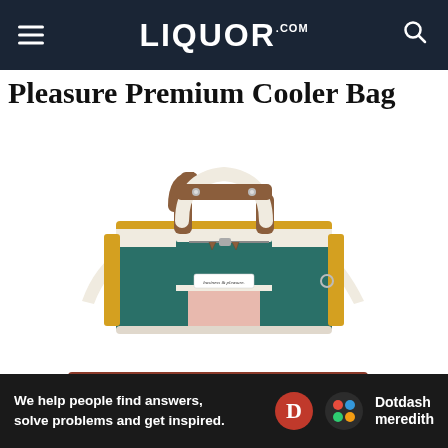LIQUOR.COM
Pleasure Premium Cooler Bag
[Figure (photo): A colorful premium cooler bag with teal/green, cream, pink, and mustard yellow panels. It has brown leather top handles with silver rivets, a front zipper pocket with brown leather zipper pulls, and a cream canvas shoulder strap. The bag has a 'business & pleasure' label patch on the front.]
Buy Now From: $96
We help people find answers, solve problems and get inspired.
[Figure (logo): Dotdash Meredith logo with red D circle and colorful dots circle]